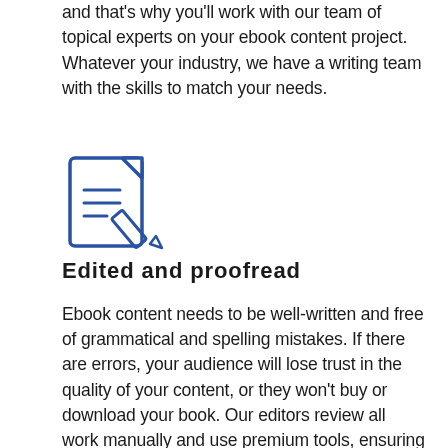and that's why you'll work with our team of topical experts on your ebook content project. Whatever your industry, we have a writing team with the skills to match your needs.
[Figure (illustration): Blue line-art icon of a document/notepad with horizontal lines and a pencil overlapping the bottom-right corner]
Edited and proofread
Ebook content needs to be well-written and free of grammatical and spelling mistakes. If there are errors, your audience will lose trust in the quality of your content, or they won't buy or download your book. Our editors review all work manually and use premium tools, ensuring you never receive anything less than perfection.